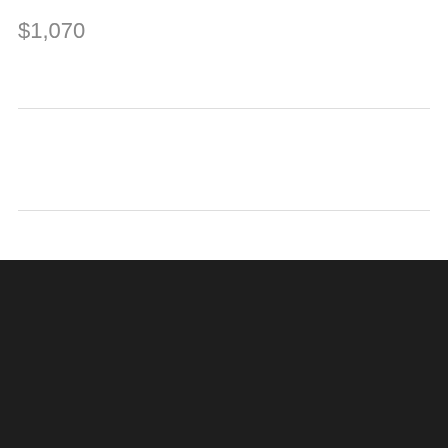$1,070
OUR COMPANY
About us
Career
C...
H...
Management Team
[Figure (logo): WhatsApp green rounded square icon with white phone/chat bubble logo]